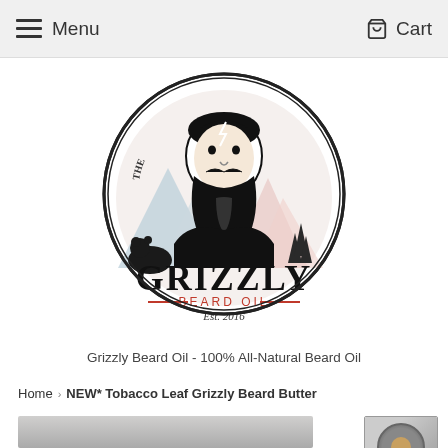Menu   Cart
[Figure (logo): Grizzly Beard Oil circular logo with bearded man illustration, bear, pine trees, mountains, and text 'THE GRIZZLY BEARD OIL Est. 2016']
Grizzly Beard Oil - 100% All-Natural Beard Oil
Home > NEW* Tobacco Leaf Grizzly Beard Butter
[Figure (photo): Product photo of Grizzly Beard Butter tin container, silver metal tin with label]
[Figure (photo): Thumbnail photo of Grizzly Beard Butter small tin]